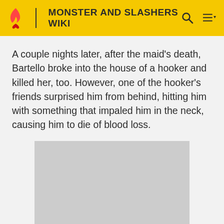MONSTER AND SLASHERS WIKI
A couple nights later, after the maid's death, Bartello broke into the house of a hooker and killed her, too. However, one of the hooker's friends surprised him from behind, hitting him with something that impaled him in the neck, causing him to die of blood loss.
[Figure (photo): Gray placeholder image rectangle]